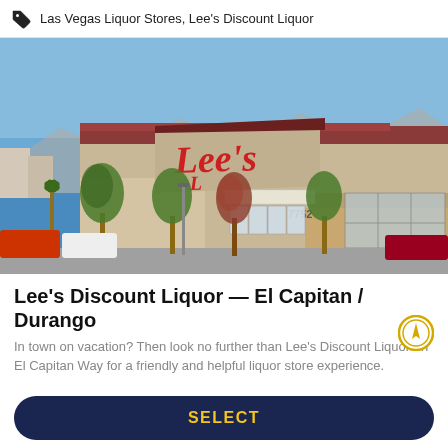Las Vegas Liquor Stores, Lee's Discount Liquor
[Figure (photo): Exterior photo of Lee's Discount Liquor store at 7752, showing the storefront with red script logo sign, tan/beige building facade, glass entrance doors, bollards in parking lot, trees in foreground, and clear blue sky.]
Lee's Discount Liquor — El Capitan / Durango
In town on vacation? Then look no further than Lee's Discount Liquor on El Capitan Way for a friendly and helpful liquor store experience.
SELECT